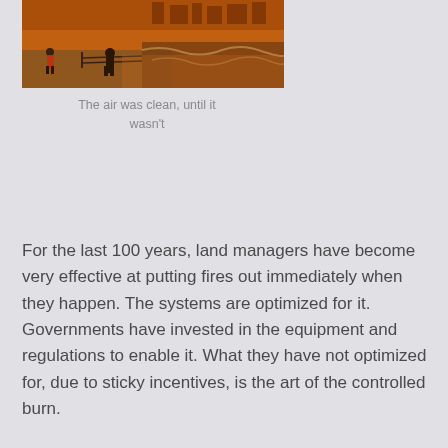[Figure (photo): A person standing at a waterfront promenade at night with rough waves, illuminated by orange-tinted light. Buildings visible in the background.]
The air was clean, until it wasn't
For the last 100 years, land managers have become very effective at putting fires out immediately when they happen. The systems are optimized for it. Governments have invested in the equipment and regulations to enable it. What they have not optimized for, due to sticky incentives, is the art of the controlled burn.